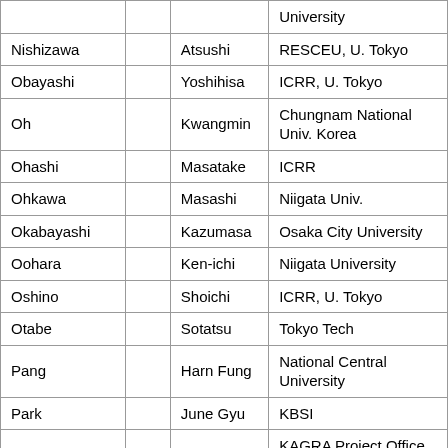| Last Name |  | First Name | Affiliation |
| --- | --- | --- | --- |
|  |  |  | University |
| Nishizawa |  | Atsushi | RESCEU, U. Tokyo |
| Obayashi |  | Yoshihisa | ICRR, U. Tokyo |
| Oh |  | Kwangmin | Chungnam National Univ. Korea |
| Ohashi |  | Masatake | ICRR |
| Ohkawa |  | Masashi | Niigata Univ. |
| Okabayashi |  | Kazumasa | Osaka City University |
| Oohara |  | Ken-ichi | Niigata University |
| Oshino |  | Shoichi | ICRR, U. Tokyo |
| Otabe |  | Sotatsu | Tokyo Tech |
| Pang |  | Harn Fung | National Central University |
| Park |  | June Gyu | KBSI |
| Pele |  |  | KAGRA Project Office, ICRR, Tokyo |